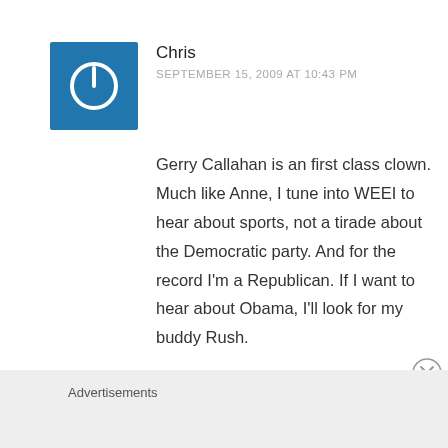[Figure (illustration): Blue square avatar icon with white power button symbol]
Chris
SEPTEMBER 15, 2009 AT 10:43 PM
Gerry Callahan is an first class clown. Much like Anne, I tune into WEEI to hear about sports, not a tirade about the Democratic party. And for the record I'm a Republican. If I want to hear about Obama, I'll look for my buddy Rush.
Advertisements